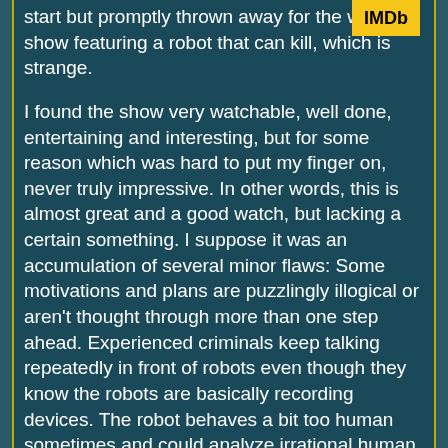[Figure (logo): IMDb logo badge in yellow with black text]
start but promptly thrown away for the whole show featuring a robot that can kill, which is strange.

I found the show very watchable, well done, entertaining and interesting, but for some reason which was hard to put my finger on, never truly impressive. In other words, this is almost great and a good watch, but lacking a certain something. I suppose it was an accumulation of several minor flaws: Some motivations and plans are puzzlingly illogical or aren't thought through more than one step ahead. Experienced criminals keep talking repeatedly in front of robots even though they know the robots are basically recording devices. The robot behaves a bit too human sometimes and could analyze irrational human behaviour too well. There are some rare, very implausible moments such as the one where a guy gets shot through the chest and buried alive then leaps up into action. Most (not all) of the characters are not